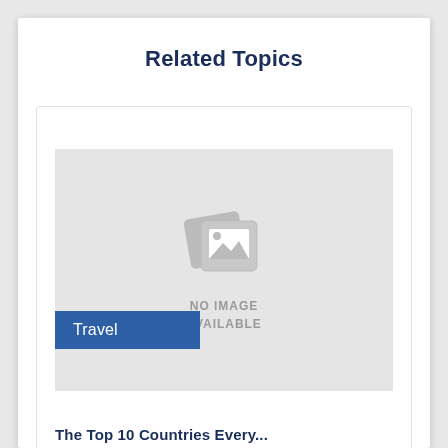Related Topics
[Figure (photo): No image available placeholder with camera/photo icon and 'NO IMAGE AVAILABLE' text]
Travel
The Top 10 Countries Every...